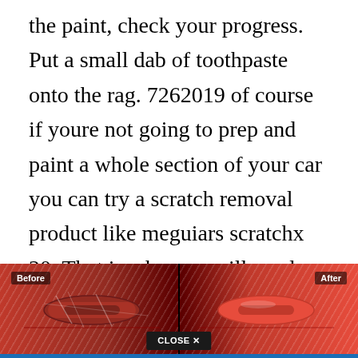the paint, check your progress. Put a small dab of toothpaste onto the rag. 7262019 of course if youre not going to prep and paint a whole section of your car you can try a scratch removal product like meguiars scratchx 20. That is why you will need a car polish to help intensify the color of your car. Buffing an area with polishing or rubbing compounds removes scratches and blemishes, but they also remove wax.
[Figure (photo): Before and after photo of a red car door handle showing scratch removal results. Left side labeled 'Before' shows scratches, right side labeled 'After' shows clean paint. A 'CLOSE X' button overlay appears at the bottom center.]